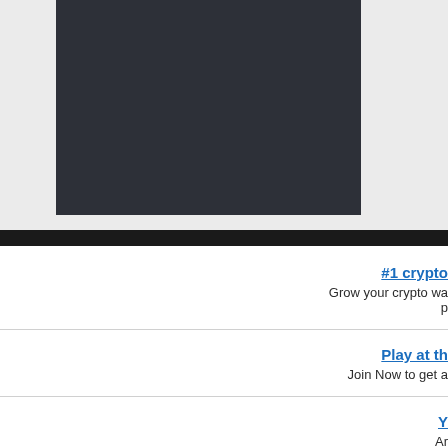[Figure (screenshot): Dark rectangular box (screenshot or video embed placeholder) on a light gray background]
#1 crypto
Grow your crypto wa p
Play at th
Join Now to get a
Y
Ar